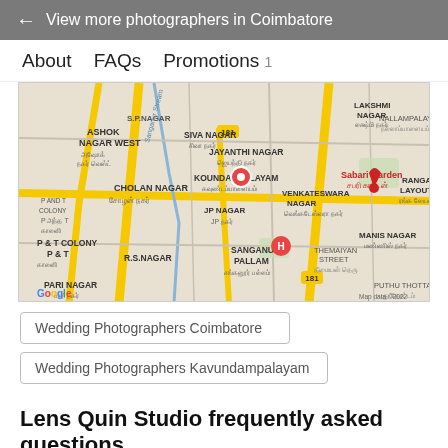← View more photographers in Coimbatore
About  FAQs  Promotions 1
[Figure (map): Google Map showing Kavundampalayam area in Coimbatore, Tamil Nadu, India. Shows neighborhoods: S.P. Nagar, Ashok Nagar West, Cholan Nagar, P and T Colony, Pari Nagar, Siva Nagar, Jayanthi Nagar, Koundampalayam, JP Nagar, R.S. Nagar, Sanganur Pallam, Venkateswara Nagar, Sabari Garden, Ranga Layout, Manis Nagar, Lakshmi Nagar, Nallampalayam, Puthu Thottam, Themaiyan Street. A red pin marker is shown at Koundampalayam. Map data ©2022.]
Wedding Photographers Coimbatore
Wedding Photographers Kavundampalayam
Lens Quin Studio frequently asked questions